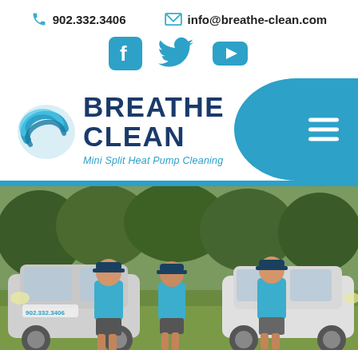902.332.3406
info@breathe-clean.com
[Figure (logo): Social media icons: Facebook, Twitter, YouTube in blue]
[Figure (logo): Breathe Clean logo with blue wave/air icon, text BREATHE CLEAN, subtitle Mini Split Heat Pump Cleaning]
[Figure (photo): Three employees in blue shirts and caps standing in front of two white branded vehicles on grass with trees in background]